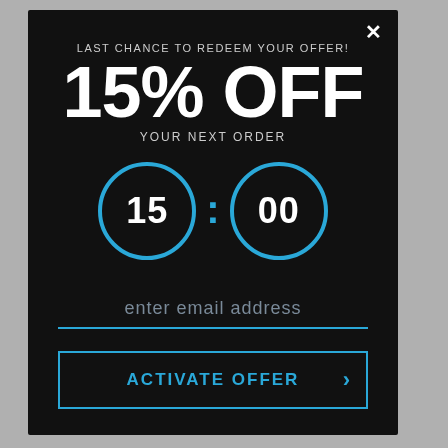LAST CHANCE TO REDEEM YOUR OFFER!
15% OFF
YOUR NEXT ORDER
[Figure (other): Countdown timer showing 15:00 with two blue-outlined circles]
enter email address
ACTIVATE OFFER